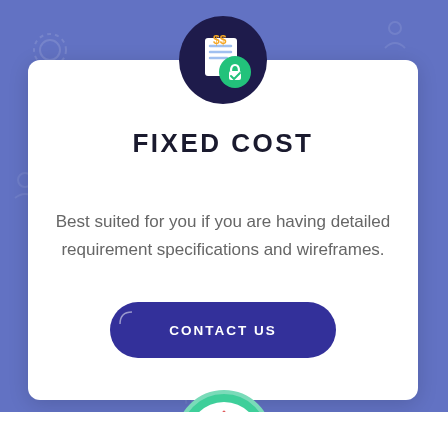[Figure (infographic): Blue/purple background with faint watermark icons of gears, people, and tools]
[Figure (illustration): Dark navy circle icon with a document showing $$ and a green padlock/checkmark badge]
FIXED COST
Best suited for you if you are having detailed requirement specifications and wireframes.
[Figure (other): Dark blue rounded button labeled CONTACT US]
[Figure (illustration): Teal/green circle with a clock/speedometer icon partially visible at the bottom of the page]